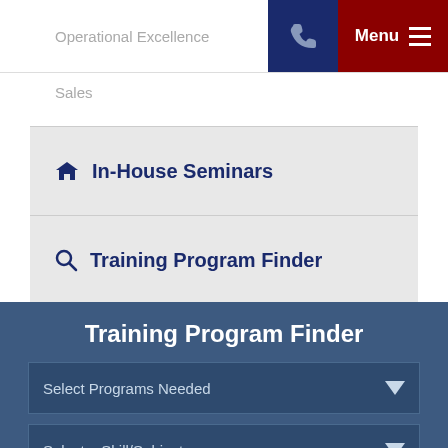Operational Excellence
Sales
In-House Seminars
Training Program Finder
Training Program Finder
Select Programs Needed
Select a Skill/Subject